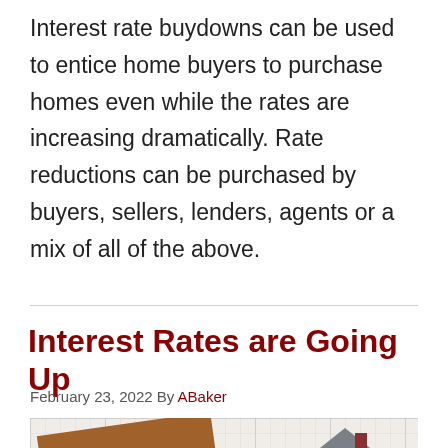Interest rate buydowns can be used to entice home buyers to purchase homes even while the rates are increasing dramatically. Rate reductions can be purchased by buyers, sellers, lenders, agents or a mix of all of the above.
Interest Rates are Going Up
February 23, 2022 By ABaker
[Figure (photo): Photo showing a brown sign with the word 'interest' written in white cursive text, alongside a miniature house model, placed on a graph paper background.]